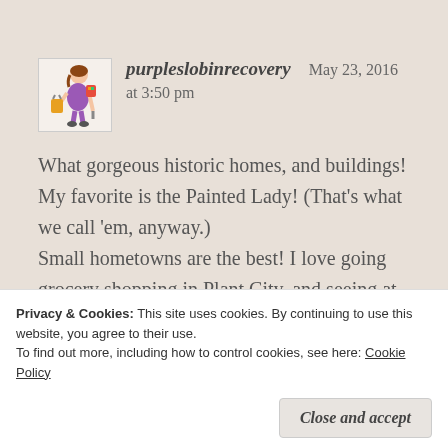purpleslobinrecovery   May 23, 2016
at 3:50 pm
What gorgeous historic homes, and buildings! My favorite is the Painted Lady! (That's what we call 'em, anyway.)
Small hometowns are the best! I love going grocery shopping in Plant City, and seeing at least 2 cousins, and an odd aunt or two!
Privacy & Cookies: This site uses cookies. By continuing to use this website, you agree to their use.
To find out more, including how to control cookies, see here: Cookie Policy
Close and accept